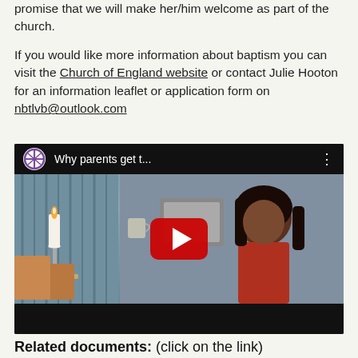promise that we will make her/him welcome as part of the church.
If you would like more information about baptism you can visit the Church of England website  or contact Julie Hooton for an information leaflet or application form on nbtlvb@outlook.com
[Figure (screenshot): YouTube video thumbnail with title 'Why parents get t...' and a play button overlay, showing a woman in a room scene. Church of England logo visible in top left of video bar.]
Related documents: (click on the link)
Baptism information leaflet